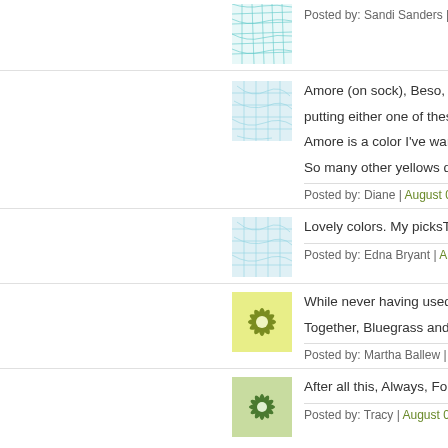[Figure (illustration): Teal/cyan geometric net pattern thumbnail image]
Posted by: Sandi Sanders | August 0...
[Figure (illustration): Light blue geometric net pattern thumbnail image]
Amore (on sock), Beso, Blue... putting either one of these wi... Amore is a color I've wanted... So many other yellows don't...
Posted by: Diane | August 05, 2020 ...
[Figure (illustration): Light blue geometric net pattern thumbnail image]
Lovely colors. My picksTarga...
Posted by: Edna Bryant | August 05,...
[Figure (illustration): Olive/yellow-green flower/star pattern thumbnail image]
While never having used this... Together, Bluegrass and Free...
Posted by: Martha Ballew | August 0...
[Figure (illustration): Green flower/star pattern thumbnail image]
After all this, Always, Forbidd...
Posted by: Tracy | August 05, 2020 a...